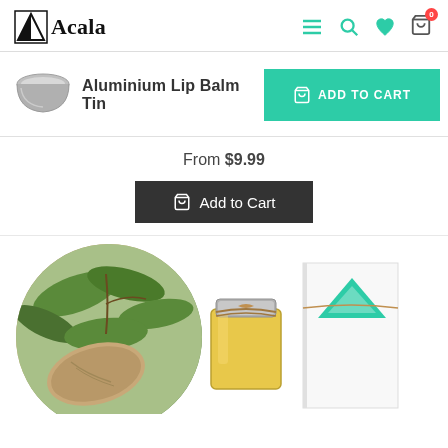Acala — navigation header with logo, menu, search, wishlist, cart icons
[Figure (photo): Small aluminium lip balm tin product thumbnail]
Aluminium Lip Balm Tin
ADD TO CART
From $9.99
Add to Cart
[Figure (photo): Circular cropped photo of almonds on a tree with leaves, alongside a glass jar of oil with twine and a white product box with teal triangle logo]